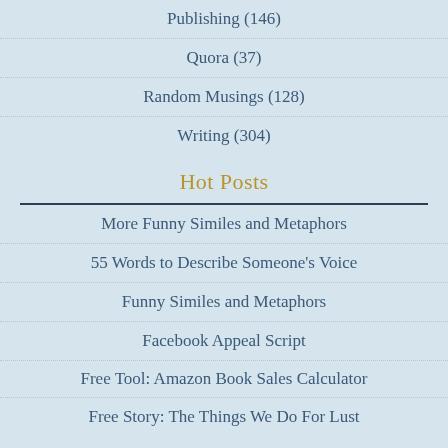Publishing (146)
Quora (37)
Random Musings (128)
Writing (304)
Hot Posts
More Funny Similes and Metaphors
55 Words to Describe Someone's Voice
Funny Similes and Metaphors
Facebook Appeal Script
Free Tool: Amazon Book Sales Calculator
Free Story: The Things We Do For Lust